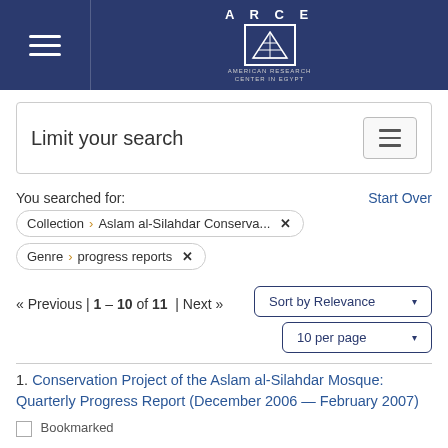[Figure (logo): ARCE (American Research Center in Egypt) logo in dark blue header with hamburger menu on left]
Limit your search
You searched for:
Start Over
Collection > Aslam al-Silahdar Conserva...  ✕
Genre > progress reports  ✕
« Previous | 1 - 10 of 11 | Next »
Sort by Relevance ▾
10 per page ▾
1. Conservation Project of the Aslam al-Silahdar Mosque: Quarterly Progress Report (December 2006 — February 2007)
Bookmarked